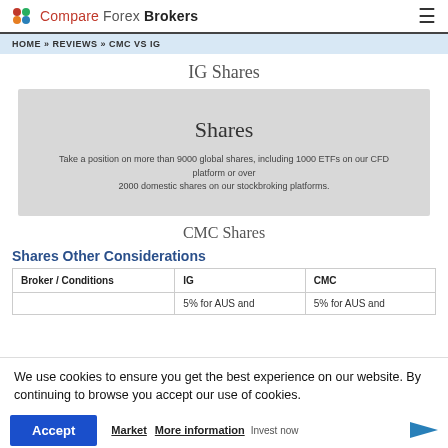Compare Forex Brokers
HOME » REVIEWS » CMC VS IG
IG Shares
[Figure (screenshot): Shares banner image with grey background showing text: Shares. Take a position on more than 9000 global shares, including 1000 ETFs on our CFD platform or over 2000 domestic shares on our stockbroking platforms.]
CMC Shares
Shares Other Considerations
| Broker / Conditions | IG | CMC |
| --- | --- | --- |
|  | 5% for AUS and | 5% for AUS and |
We use cookies to ensure you get the best experience on our website. By continuing to browse you accept our use of cookies.
Accept   More information   Market   Invest now